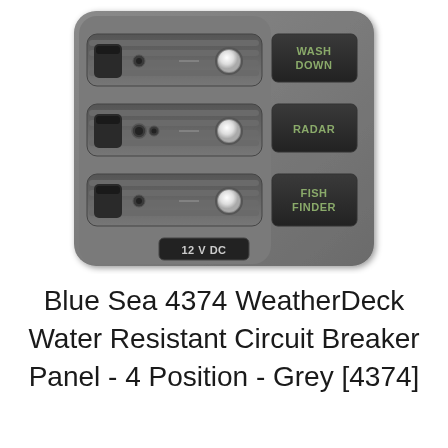[Figure (photo): Blue Sea 4374 WeatherDeck Water Resistant Circuit Breaker Panel - a grey marine electrical panel with 3 circuit breakers, indicator lights, labeled switches (WASH DOWN, RADAR, FISH FINDER), and a 12 V DC label at the bottom.]
Blue Sea 4374 WeatherDeck Water Resistant Circuit Breaker Panel - 4 Position - Grey [4374]